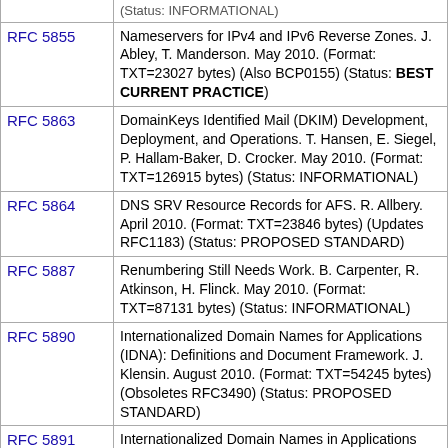| RFC | Description |
| --- | --- |
| RFC 5855 | Nameservers for IPv4 and IPv6 Reverse Zones. J. Abley, T. Manderson. May 2010. (Format: TXT=23027 bytes) (Also BCP0155) (Status: BEST CURRENT PRACTICE) |
| RFC 5863 | DomainKeys Identified Mail (DKIM) Development, Deployment, and Operations. T. Hansen, E. Siegel, P. Hallam-Baker, D. Crocker. May 2010. (Format: TXT=126915 bytes) (Status: INFORMATIONAL) |
| RFC 5864 | DNS SRV Resource Records for AFS. R. Allbery. April 2010. (Format: TXT=23846 bytes) (Updates RFC1183) (Status: PROPOSED STANDARD) |
| RFC 5887 | Renumbering Still Needs Work. B. Carpenter, R. Atkinson, H. Flinck. May 2010. (Format: TXT=87131 bytes) (Status: INFORMATIONAL) |
| RFC 5890 | Internationalized Domain Names for Applications (IDNA): Definitions and Document Framework. J. Klensin. August 2010. (Format: TXT=54245 bytes) (Obsoletes RFC3490) (Status: PROPOSED STANDARD) |
| RFC 5891 | Internationalized Domain Names in Applications (IDNA): Protocol. J. Klensin. August 2010 |